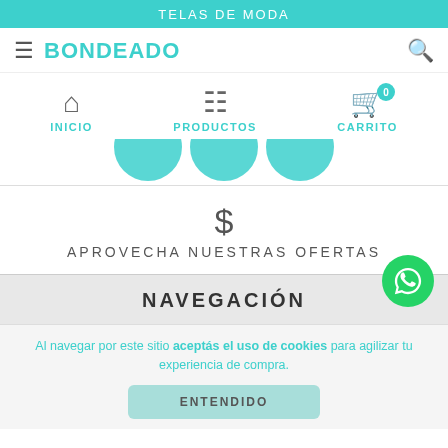TELAS DE MODA
BONDEADO
[Figure (screenshot): Navigation icons: home (INICIO), grid (PRODUCTOS), shopping cart with badge 0 (CARRITO)]
[Figure (illustration): Three teal semicircles partially visible at bottom of nav area]
$ APROVECHA NUESTRAS OFERTAS
NAVEGACIÓN
Al navegar por este sitio aceptás el uso de cookies para agilizar tu experiencia de compra.
ENTENDIDO